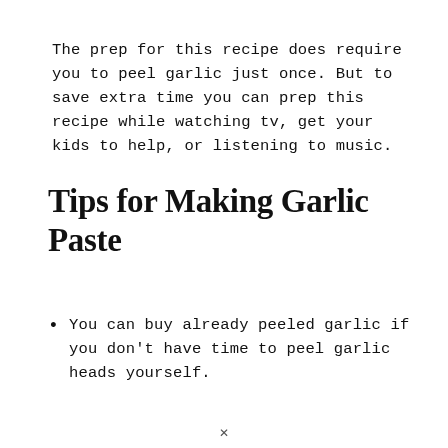The prep for this recipe does require you to peel garlic just once. But to save extra time you can prep this recipe while watching tv, get your kids to help, or listening to music.
Tips for Making Garlic Paste
You can buy already peeled garlic if you don't have time to peel garlic heads yourself.